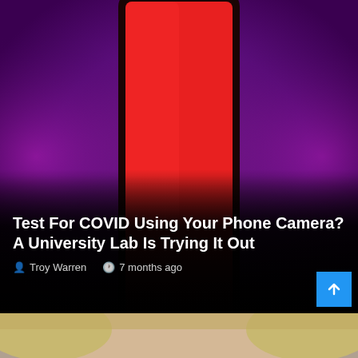[Figure (photo): A red smartphone screen displayed against a purple/magenta glowing background, with news article overlay text at the bottom]
Test For COVID Using Your Phone Camera? A University Lab Is Trying It Out
Troy Warren   7 months ago
[Figure (photo): Partial view of a person's face/hair, cropped at the bottom of the page]